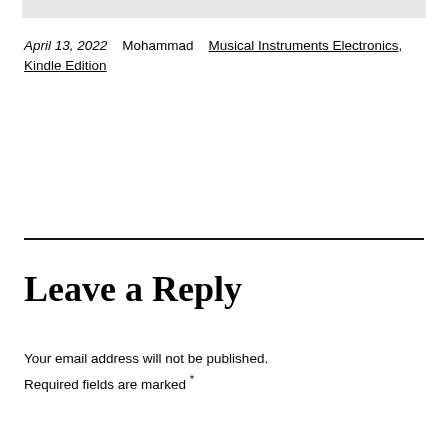April 13, 2022    Mohammad    Musical Instruments Electronics, Kindle Edition
Leave a Reply
Your email address will not be published. Required fields are marked *